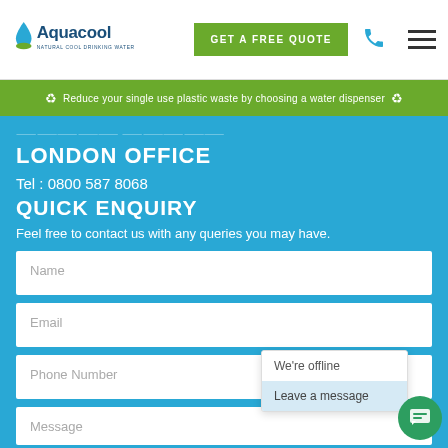[Figure (logo): Aquacool logo with water drop and text 'NATURAL COOL DRINKING WATER']
GET A FREE QUOTE
Reduce your single use plastic waste by choosing a water dispenser
LONDON OFFICE
Tel : 0800 587 8068
QUICK ENQUIRY
Feel free to contact us with any queries you may have.
Name
Email
Phone Number
We're offline
Leave a message
Message